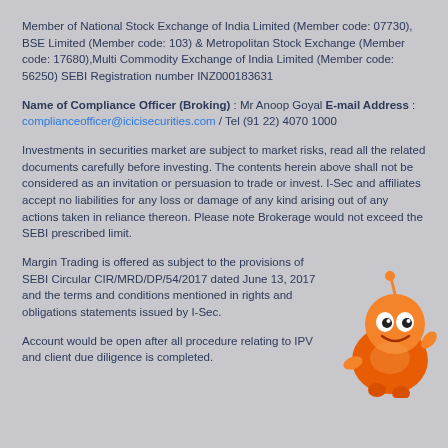Member of National Stock Exchange of India Limited (Member code: 07730), BSE Limited (Member code: 103) & Metropolitan Stock Exchange (Member code: 17680),Multi Commodity Exchange of India Limited (Member code: 56250) SEBI Registration number INZ000183631
Name of Compliance Officer (Broking) : Mr Anoop Goyal E-mail Address : complianceofficer@icicisecurities.com / Tel (91 22) 4070 1000
Investments in securities market are subject to market risks, read all the related documents carefully before investing. The contents herein above shall not be considered as an invitation or persuasion to trade or invest. I-Sec and affiliates accept no liabilities for any loss or damage of any kind arising out of any actions taken in reliance thereon. Please note Brokerage would not exceed the SEBI prescribed limit.
Margin Trading is offered as subject to the provisions of SEBI Circular CIR/MRD/DP/54/2017 dated June 13, 2017 and the terms and conditions mentioned in rights and obligations statements issued by I-Sec.
Account would be open after all procedure relating to IPV and client due diligence is completed.
[Figure (illustration): Orange robot/mascot character (ICICI Securities mascot) positioned in the bottom-right corner of the page]